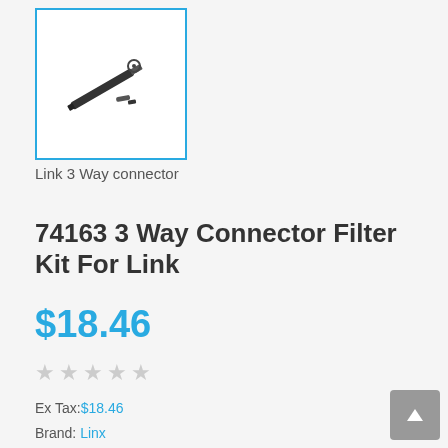[Figure (photo): Product thumbnail image of a 3-way connector kit showing small connector parts, displayed inside a blue-bordered box]
Link 3 Way connector
74163 3 Way Connector Filter Kit For Link
$18.46
★★★★★ (empty stars)
Ex Tax:$18.46
Brand: Linx
Product Code:74163
Availability:In Stock